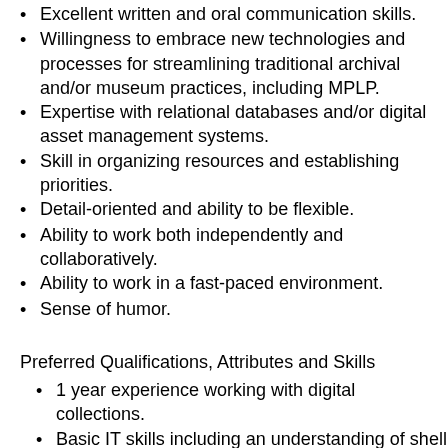Excellent written and oral communication skills.
Willingness to embrace new technologies and processes for streamlining traditional archival and/or museum practices, including MPLP.
Expertise with relational databases and/or digital asset management systems.
Skill in organizing resources and establishing priorities.
Detail-oriented and ability to be flexible.
Ability to work both independently and collaboratively.
Ability to work in a fast-paced environment.
Sense of humor.
Preferred Qualifications, Attributes and Skills
1 year experience working with digital collections.
Basic IT skills including an understanding of shell scripting and Ubuntu.
Experience providing reference services.